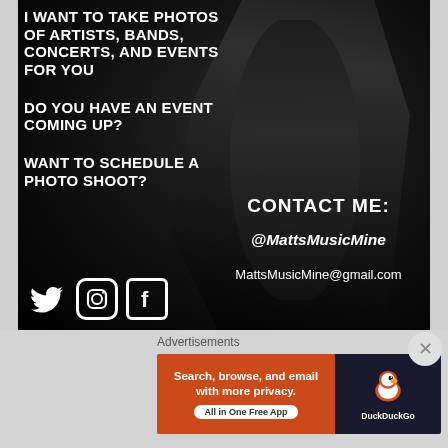[Figure (photo): Black and white photo of a music performer/artist on stage wearing a t-shirt, holding a microphone, with dramatic dark lighting]
I WANT TO TAKE PHOTOS OF ARTISTS, BANDS, CONCERTS, AND EVENTS FOR YOU

DO YOU HAVE AN EVENT COMING UP?

WANT TO SCHEDULE A PHOTO SHOOT?
CONTACT ME:

@MattsMusicMine

MattsMusicMine@gmail.com
[Figure (infographic): Twitter, Instagram, and Facebook social media icons in white]
[Figure (other): Close/X button circle]
Advertisements
[Figure (screenshot): DuckDuckGo advertisement banner: orange left panel with text 'Search, browse, and email with more privacy. All in One Free App' and dark right panel with DuckDuckGo duck logo and brand name]